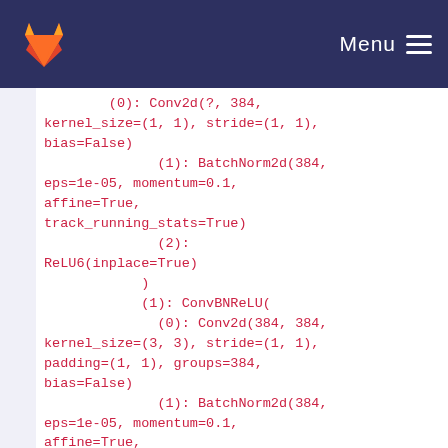Menu
(0): Conv2d(?, 384, kernel_size=(1, 1), stride=(1, 1), bias=False)
    (1): BatchNorm2d(384, eps=1e-05, momentum=0.1, affine=True, track_running_stats=True)
    (2): ReLU6(inplace=True)
)
(1): ConvBNReLU(
    (0): Conv2d(384, 384, kernel_size=(3, 3), stride=(1, 1), padding=(1, 1), groups=384, bias=False)
    (1): BatchNorm2d(384, eps=1e-05, momentum=0.1, affine=True, track_running_stats=True)
    (2): ReLU6(inplace=True)